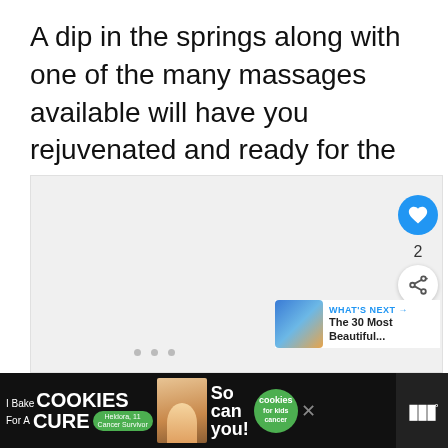A dip in the springs along with one of the many massages available will have you rejuvenated and ready for the next adventure.
[Figure (photo): A light gray placeholder image area with navigation dots at the bottom and UI controls including a heart/like button (count: 2), a share button, and a 'What's Next' preview card showing 'The 30 Most Beautiful...' with a thumbnail image]
[Figure (screenshot): Advertisement banner at the bottom: 'I Bake COOKIES For A CURE' with a person image, 'So can you!' text, cookies for kids cancer badge, close button, and a logo on the right]